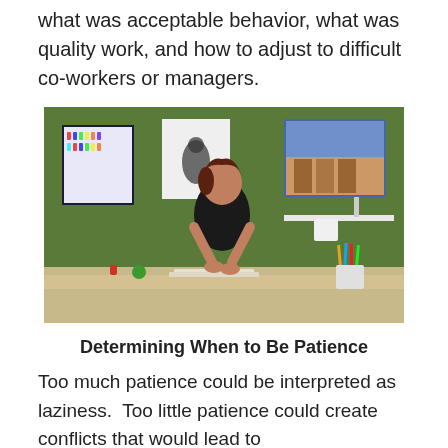what was acceptable behavior, what was quality work, and how to adjust to difficult co-workers or managers.
[Figure (photo): A woman with short dark hair wearing a black top sits at a light-colored desk, working on something with her hands. Behind her is a green wall with artwork/posters hanging on it. On the desk are colored pencils in a cup, papers, and small objects.]
Determining When to Be Patience
Too much patience could be interpreted as laziness.  Too little patience could create conflicts that would lead to being fired or demoted. But sufficient patience at times...